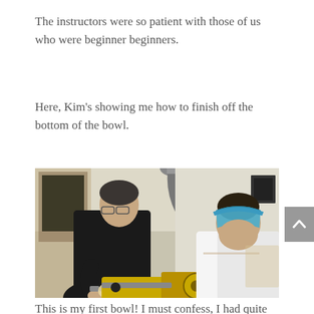The instructors were so patient with those of us who were beginner beginners.
Here, Kim's showing me how to finish off the bottom of the bowl.
[Figure (photo): Two people at a wood lathe in a workshop. One person in a dark jacket leans over the lathe working on a wooden bowl, while another person in a white coat wears a blue protective face shield. A yellow lathe machine is visible, with a dust extraction hose overhead.]
This is my first bowl! I must confess, I had quite